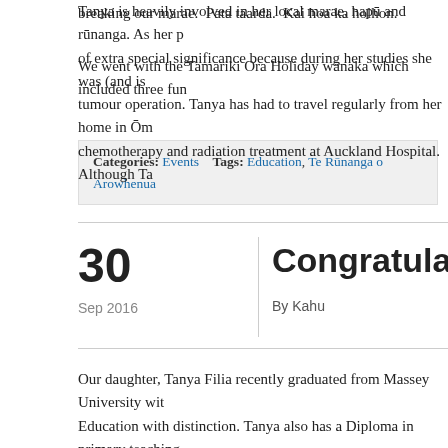breaking our marae.  Pata taarda.  Kai hoa ka holhon.
We went with the Tamariki Ora Holiday wānaka which included three fun
Categories: Events    Tags: Education, Te Rūnanga o Arowhenua
Congratulations
30
Sep 2016
By Kahu
Our daughter, Tanya Filia recently graduated from Massey University with Education with distinction. Tanya also has a Diploma in primary teaching was until recently, the principal of Kohukohu Primary School North Hokia her father's side is to Takaroa Makutu (Te Ngāi Tūāhuriri) and Peti Huntly Karue who was prominent in defending land rights at Tua Marina (Waira
Tanya is heavily involved in her local marae, hapū and rūnanga. As her p of extra special significance because during her studies she was (and is tumour operation. Tanya has had to travel regularly from her home in Ōm chemotherapy and radiation treatment at Auckland Hospital. Although Ta